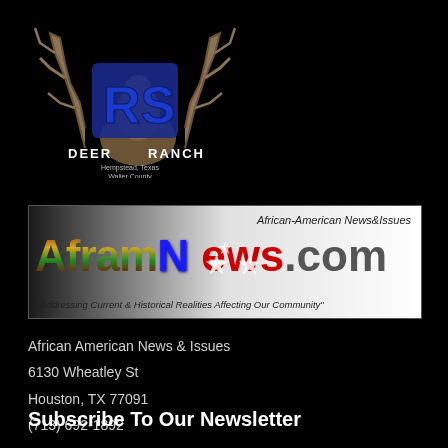[Figure (logo): RS Deer Ranch logo with antlers silhouette and text 'DEER RANCH, Hempstead, Texas, Waller County']
[Figure (logo): AframNews.com banner logo - African-American News & Issues website banner with colorful text and tagline 'Addressing Current & Historical Realities Affecting Our Community']
African American News & Issues
6130 Wheatley St
Houston, TX 77091
(713) 692-1892
Subscribe To Our Newsletter